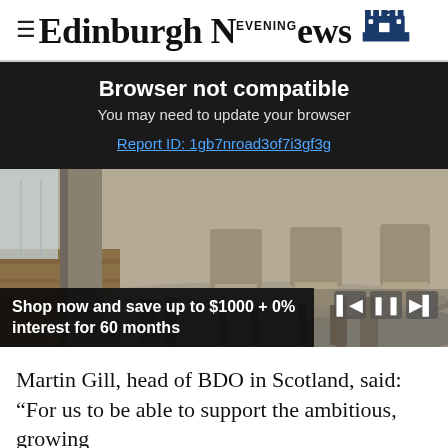Edinburgh Evening News
Browser not compatible
You may need to update your browser
Report ID: 1gb7nroad3of7i3gf3g
[Figure (photo): Photo of a dining table and chairs set, rustic wood style, with an overlay caption reading: Shop now and save up to $1000 + 0% interest for 60 months]
Martin Gill, head of BDO in Scotland, said: “For us to be able to support the ambitious, growing